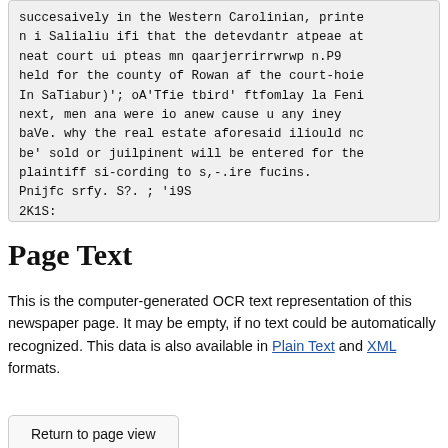succesaively in the Western Carolinian, printe
n i Salialiu ifi that the detevdantr atpeae at
neat court ui pteas mn qaarjerrirrwrwp n.P9
held for the county of Rowan af the court-hoie
In SaTiabur)'; oA'Tfie tbird' ftfomlay la Feni
next, men ana were io anew cause u any iney
baVe. why the real estate aforesaid iliould nc
be' sold or juilpinent will be entered for the
plaintiff si-cording to s,-.ire fucins.
Pnijfc srfy. S?. ; 'i9S
2K1S:
Page Text
This is the computer-generated OCR text representation of this newspaper page. It may be empty, if no text could be automatically recognized. This data is also available in Plain Text and XML formats.
Return to page view